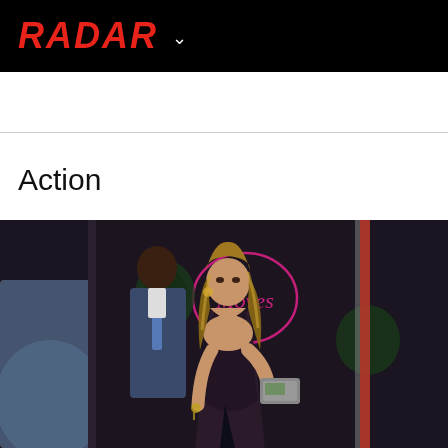RADAR
Action
[Figure (photo): A woman in a dark form-fitting long-sleeve dress with deep neckline standing outside a venue called 'Moves', holding a clutch purse. A man in a suit is visible behind her. Night scene with neon pink sign.]